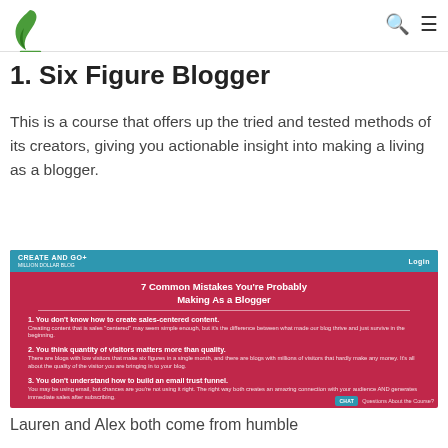CREATE AND GO (logo) | Search | Menu
1. Six Figure Blogger
This is a course that offers up the tried and tested methods of its creators, giving you actionable insight into making a living as a blogger.
[Figure (screenshot): Screenshot of the Create and Go website showing a page titled '7 Common Mistakes You're Probably Making As a Blogger' with three numbered items about sales-centered content, quality of visitors, and email trust funnels. The page has a dark red/maroon background with a teal header bar.]
Lauren and Alex both come from humble